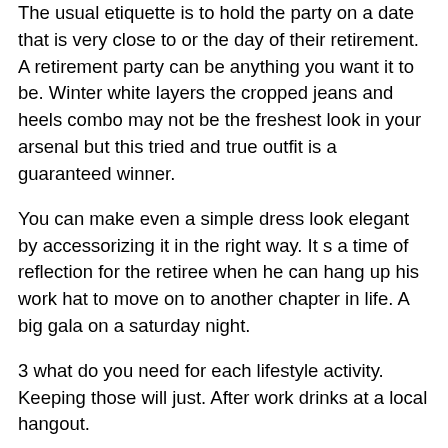The usual etiquette is to hold the party on a date that is very close to or the day of their retirement. A retirement party can be anything you want it to be. Winter white layers the cropped jeans and heels combo may not be the freshest look in your arsenal but this tried and true outfit is a guaranteed winner.
You can make even a simple dress look elegant by accessorizing it in the right way. It s a time of reflection for the retiree when he can hang up his work hat to move on to another chapter in life. A big gala on a saturday night.
3 what do you need for each lifestyle activity. Keeping those will just. After work drinks at a local hangout.
Retirement is usually a highly anticipated event. If you are throwing a retirement party for a friend or relative or are simply attending a retirement party certain etiquette guidelines will help you be respectful and courteous. Many stars wear gold because it lifts up their status and gives them an air of royalty and regality.